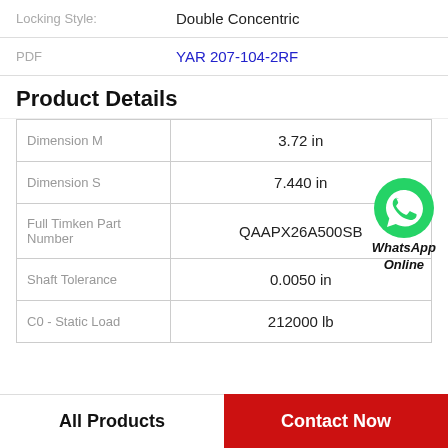Locking Style: Double Concentric
PDF YAR 207-104-2RF
Product Details
|  |  |
| --- | --- |
| Dimension M | 3.72 in |
| Dimension S | 7.440 in |
| Full Timken Part Number | QAAPX26A500SB |
| Shaft Tolerance | 0.0050 in |
| C0 - Static Load | 212000 lb |
[Figure (logo): WhatsApp Online green phone bubble icon with text 'WhatsApp Online']
All Products
Contact Now